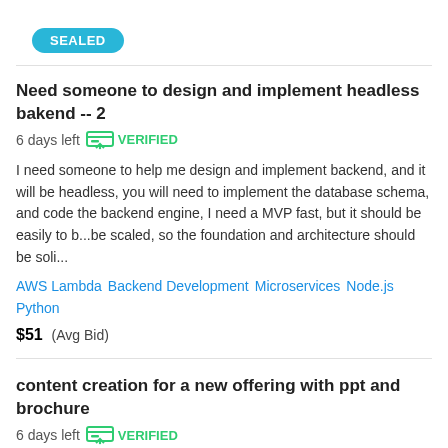SEALED
Need someone to design and implement headless bakend -- 2   6 days left   VERIFIED
I need someone to help me design and implement backend, and it will be headless, you will need to implement the database schema, and code the backend engine, I need a MVP fast, but it should be easily to b...be scaled, so the foundation and architecture should be soli...
AWS Lambda   Backend Development   Microservices   Node.js   Python
$51  (Avg Bid)
content creation for a new offering with ppt and brochure   6 days left   VERIFIED
Skill development program for 4 years with confirm jobs at